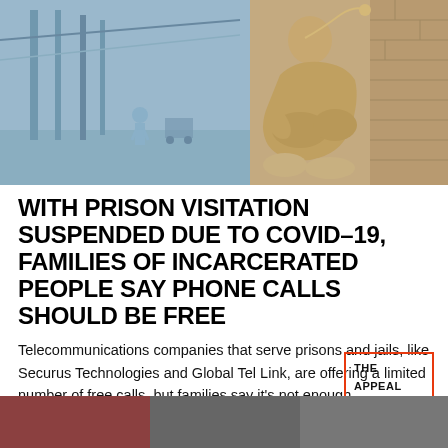[Figure (illustration): Hero image composite: left side shows prison corridor with blue tint, right side shows a person sitting huddled with knees up against a brick wall, rendered in golden/tan tones, wearing earbuds.]
WITH PRISON VISITATION SUSPENDED DUE TO COVID-19, FAMILIES OF INCARCERATED PEOPLE SAY PHONE CALLS SHOULD BE FREE
Telecommunications companies that serve prisons and jails, like Securus Technologies and Global Tel Link, are offering a limited number of free calls, but families say it's not enough.
Molly Minta   Apr 02, 2020
[Figure (logo): The Appeal logo — black text in red-bordered box reading THE APPEAL]
[Figure (photo): Bottom portion of another image, partially visible at the very bottom of the page.]